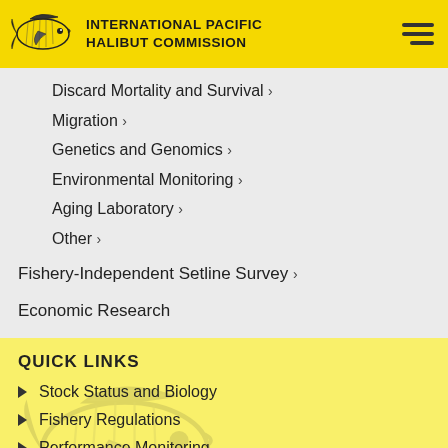International Pacific Halibut Commission
Discard Mortality and Survival >
Migration >
Genetics and Genomics >
Environmental Monitoring >
Aging Laboratory >
Other >
Fishery-Independent Setline Survey >
Economic Research
QUICK LINKS
Stock Status and Biology
Fishery Regulations
Performance Monitoring
Circulars